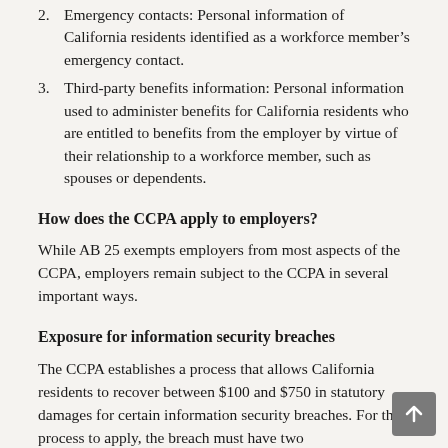2. Emergency contacts: Personal information of California residents identified as a workforce member’s emergency contact.
3. Third-party benefits information: Personal information used to administer benefits for California residents who are entitled to benefits from the employer by virtue of their relationship to a workforce member, such as spouses or dependents.
How does the CCPA apply to employers?
While AB 25 exempts employers from most aspects of the CCPA, employers remain subject to the CCPA in several important ways.
Exposure for information security breaches
The CCPA establishes a process that allows California residents to recover between $100 and $750 in statutory damages for certain information security breaches. For the process to apply, the breach must have two characteristics.Â